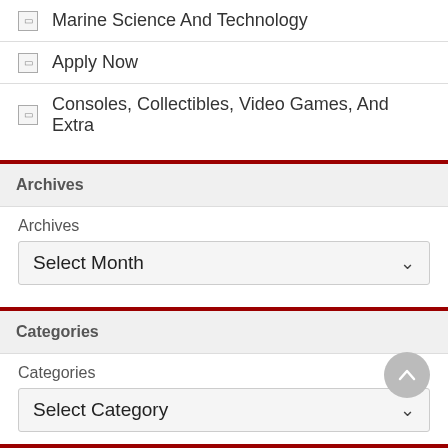Marine Science And Technology
Apply Now
Consoles, Collectibles, Video Games, And Extra
Archives
Archives
Select Month
Categories
Categories
Select Category